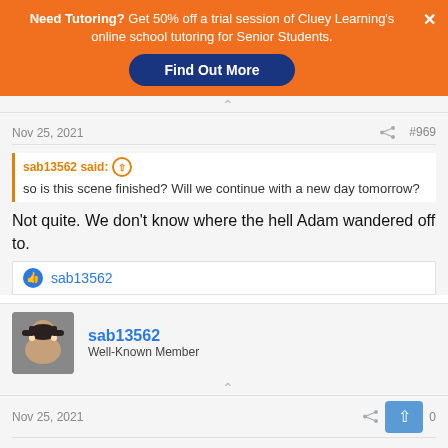[Figure (screenshot): Orange ad banner for Cluey Learning tutoring with blue Find Out More button and X close button]
Nov 25, 2021   #969
sab13562 said: ↑
so is this scene finished? Will we continue with a new day tomorrow?
Not quite. We don't know where the hell Adam wandered off to.
👍 sab13562
sab13562
Well-Known Member
Nov 25, 2021   #970
bye guys!